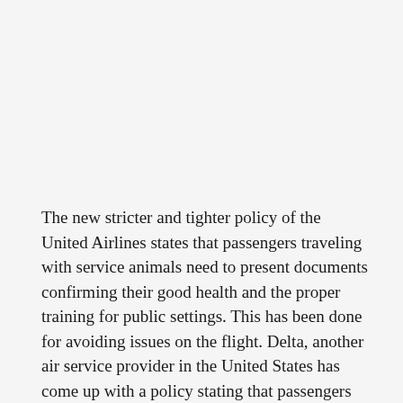The new stricter and tighter policy of the United Airlines states that passengers traveling with service animals need to present documents confirming their good health and the proper training for public settings. This has been done for avoiding issues on the flight. Delta, another air service provider in the United States has come up with a policy stating that passengers traveling with their emotional support animals need to provide their veterinary health records prior to carrying them on the flight.